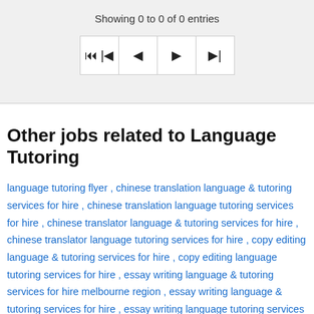Showing 0 to 0 of 0 entries
[Figure (other): Pagination navigation buttons: first page, previous page, next page, last page]
Other jobs related to Language Tutoring
language tutoring flyer , chinese translation language & tutoring services for hire , chinese translation language tutoring services for hire , chinese translator language & tutoring services for hire , chinese translator language tutoring services for hire , copy editing language & tutoring services for hire , copy editing language tutoring services for hire , essay writing language & tutoring services for hire melbourne region , essay writing language & tutoring services for hire , essay writing language tutoring services for hire melbourne region , essay